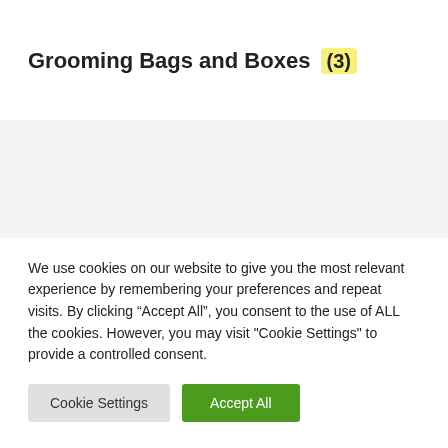Grooming Bags and Boxes (3)
[Figure (other): Partial product image area showing a gray horizontal bar at the bottom, suggesting a product display cut off by the cookie consent overlay]
We use cookies on our website to give you the most relevant experience by remembering your preferences and repeat visits. By clicking “Accept All”, you consent to the use of ALL the cookies. However, you may visit "Cookie Settings" to provide a controlled consent.